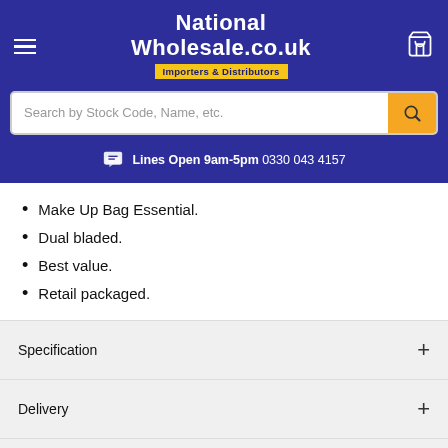[Figure (logo): National Wholesale .co.uk logo with 'Importers & Distributors' tagline on dark blue background header with hamburger menu and cart icon]
[Figure (screenshot): Search bar with placeholder text 'Search by Stock Code, Name, etc.' and orange search button]
Lines Open 9am-5pm 0330 043 4157
Make Up Bag Essential.
Dual bladed.
Best value.
Retail packaged.
Specification
Delivery
How Wholesale Works